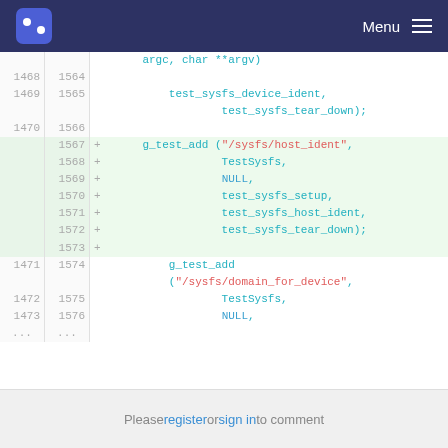Menu
Code diff showing lines 1468-1473 (original) and 1564-1576 (new), with added lines 1567-1573 for g_test_add("/sysfs/host_ident", ...)
Please register or sign in to comment